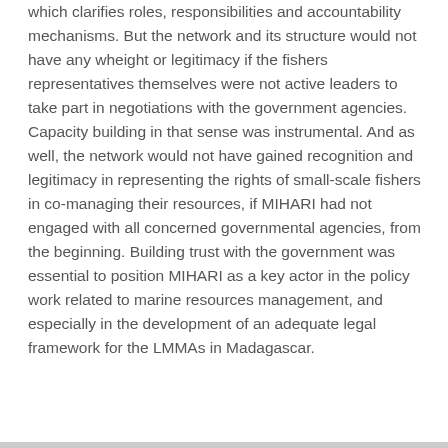which clarifies roles, responsibilities and accountability mechanisms. But the network and its structure would not have any wheight or legitimacy if the fishers representatives themselves were not active leaders to take part in negotiations with the government agencies. Capacity building in that sense was instrumental. And as well, the network would not have gained recognition and legitimacy in representing the rights of small-scale fishers in co-managing their resources, if MIHARI had not engaged with all concerned governmental agencies, from the beginning. Building trust with the government was essential to position MIHARI as a key actor in the policy work related to marine resources management, and especially in the development of an adequate legal framework for the LMMAs in Madagascar.